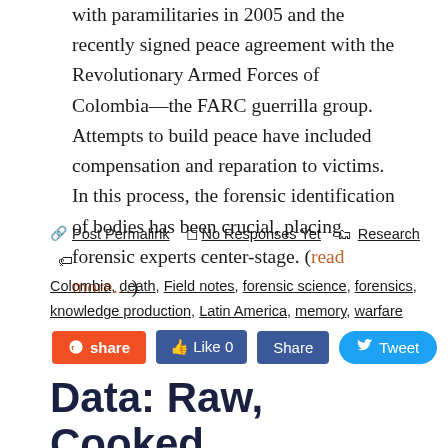with paramilitaries in 2005 and the recently signed peace agreement with the Revolutionary Armed Forces of Colombia—the FARC guerrilla group. Attempts to build peace have included compensation and reparation to victims. In this process, the forensic identification of bodies has been crucial, placing forensic experts center-stage. (read more…)
Post Permalink  No Responses Yet  Research  Colombia, death, Field notes, forensic science, forensics, knowledge production, Latin America, memory, warfare
share  Like 0  Share  Tweet
Data: Raw, Cooked, Shared